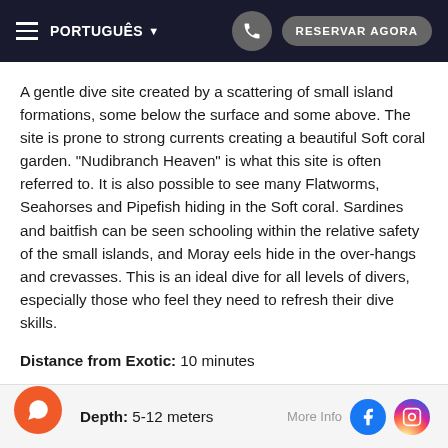≡ PORTUGUÊS ▼   [phone]   RESERVAR AGORA
A gentle dive site created by a scattering of small island formations, some below the surface and some above. The site is prone to strong currents creating a beautiful Soft coral garden. "Nudibranch Heaven" is what this site is often referred to. It is also possible to see many Flatworms, Seahorses and Pipefish hiding in the Soft coral. Sardines and baitfish can be seen schooling within the relative safety of the small islands, and Moray eels hide in the over-hangs and crevasses. This is an ideal dive for all levels of divers, especially those who feel they need to refresh their dive skills.
Distance from Exotic: 10 minutes
Min Certification: Open Water
Depth: 5-12 meters
More Info  [Facebook]  [Instagram]